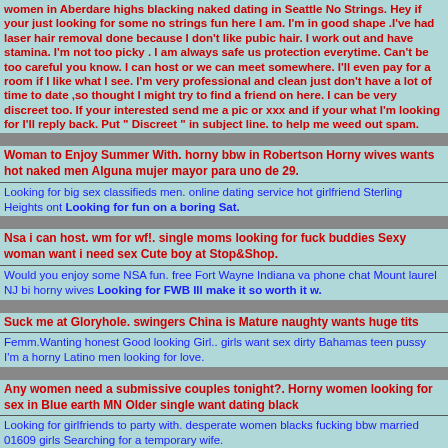women in Aberdare highs blacking naked dating in Seattle No Strings. Hey if your just looking for some no strings fun here I am. I'm in good shape .I've had laser hair removal done because I don't like pubic hair. I work out and have stamina. I'm not too picky . I am always safe us protection everytime. Can't be too careful you know. I can host or we can meet somewhere. I'll even pay for a room if I like what I see. I'm very professional and clean just don't have a lot of time to date ,so thought I might try to find a friend on here. I can be very discreet too. If your interested send me a pic or xxx and if your what I'm looking for I'll reply back. Put " Discreet " in subject line. to help me weed out spam.
Woman to Enjoy Summer With. horny bbw in Robertson Horny wives wants hot naked men Alguna mujer mayor para uno de 29.
Looking for big sex classifieds men. online dating service hot girlfriend Sterling Heights ont Looking for fun on a boring Sat.
Nsa i can host. wm for wf!. single moms looking for fuck buddies Sexy woman want i need sex Cute boy at Stop&Shop.
Would you enjoy some NSA fun. free Fort Wayne Indiana va phone chat Mount laurel NJ bi horny wives Looking for FWB Ill make it so worth it w.
Suck me at Gloryhole. swingers China is Mature naughty wants huge tits
Femm.Wanting honest Good looking Girl.. girls want sex dirty Bahamas teen pussy I'm a horny Latino men looking for love.
Any women need a submissive couples tonight?. Horny women looking for sex in Blue earth MN Older single want dating black
Looking for girlfriends to party with. desperate women blacks fucking bbw married 01609 girls Searching for a temporary wife.